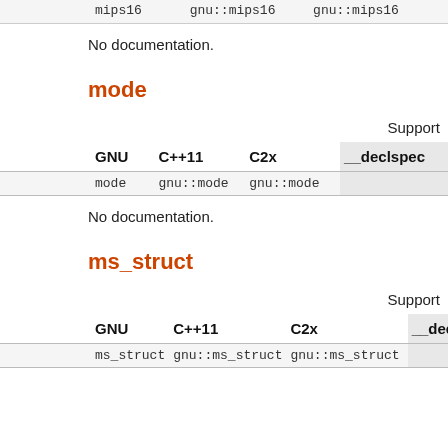|  | gnu::mips16 | gnu::mips16 | __declspec(...) |
| --- | --- | --- | --- |
| mips16 | gnu::mips16 | gnu::mips16 |  |
No documentation.
mode
Support
| GNU | C++11 | C2x | __declspec(...) |
| --- | --- | --- | --- |
| mode | gnu::mode | gnu::mode |  |
No documentation.
ms_struct
Support
| GNU | C++11 | C2x | __declspec(...) |
| --- | --- | --- | --- |
| ms_struct | gnu::ms_struct | gnu::ms_struct |  |